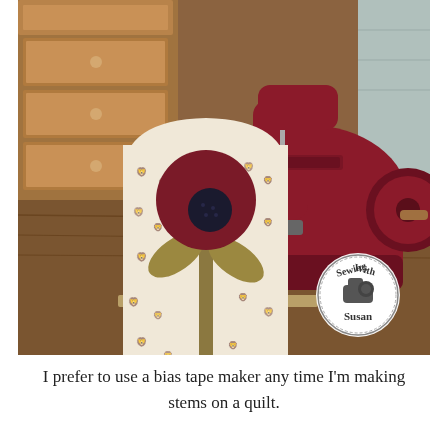[Figure (photo): A vintage red toy sewing machine sitting on a wooden surface with a wooden drawer unit in the background. In front of the sewing machine is a fabric quilt block featuring an appliquéd flower design — a dark red/maroon circle on top of a stem with two olive/gold leaves, set against a cream fabric printed with small red animal (dog/lion) motifs. A circular logo in the bottom-right reads 'Sewing with Susan' with a sewing machine icon.]
I prefer to use a bias tape maker any time I'm making stems on a quilt.